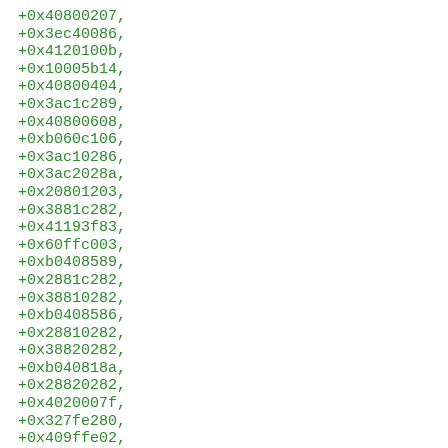+0x40800207,
+0x3ec40086,
+0x4120100b,
+0x10005b14,
+0x40800404,
+0x3ac1c289,
+0x40800608,
+0xb060c106,
+0x3ac10286,
+0x3ac2028a,
+0x20801203,
+0x3881c282,
+0x41193f83,
+0x60ffc003,
+0xb0408589,
+0x2881c282,
+0x38810282,
+0xb0408586,
+0x28810282,
+0x38820282,
+0xb040818a,
+0x28820282,
+0x4020007f,
+0x327fe280,
+0x409ffe02,